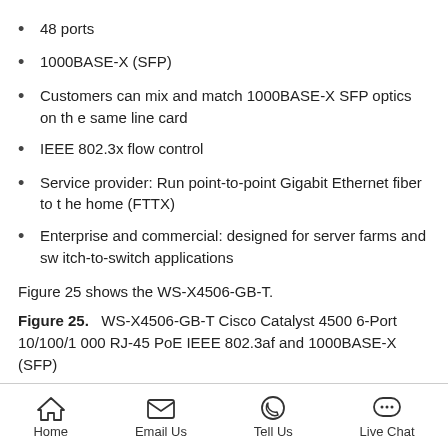48 ports
1000BASE-X (SFP)
Customers can mix and match 1000BASE-X SFP optics on the same line card
IEEE 802.3x flow control
Service provider: Run point-to-point Gigabit Ethernet fiber to the home (FTTX)
Enterprise and commercial: designed for server farms and switch-to-switch applications
Figure 25 shows the WS-X4506-GB-T.
Figure 25.    WS-X4506-GB-T Cisco Catalyst 4500 6-Port 10/100/1000 RJ-45 PoE IEEE 802.3af and 1000BASE-X (SFP)
WS-X4506-GB-T:
6-port 10/100/1000 and 6-port SFP (any combination of up to